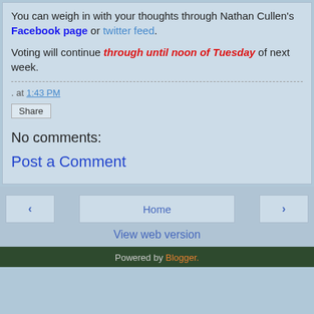You can weigh in with your thoughts through Nathan Cullen's Facebook page or twitter feed.
Voting will continue through until noon of Tuesday of next week.
. at 1:43 PM
Share
No comments:
Post a Comment
Home
View web version
Powered by Blogger.